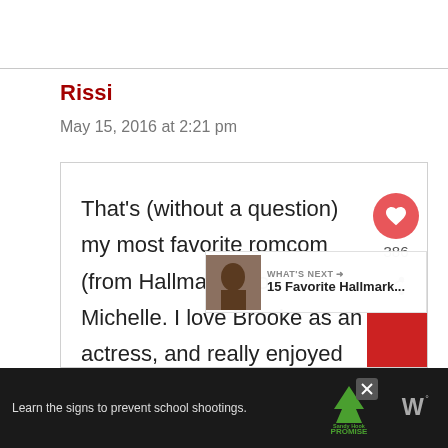Rissi
May 15, 2016 at 2:21 pm
That’s (without a question) my most favorite romcom (from Hallmark) too, Michelle. I love Brooke as an actress, and really enjoyed Eric’s “geeky” leading man. Plus, the scenes between them? So swoony! ||
[Figure (other): WHAT'S NEXT arrow label with thumbnail and text '15 Favorite Hallmark...']
[Figure (other): Advertisement banner: 'Learn the signs to prevent school shootings.' with Sandy Hook Promise logo]